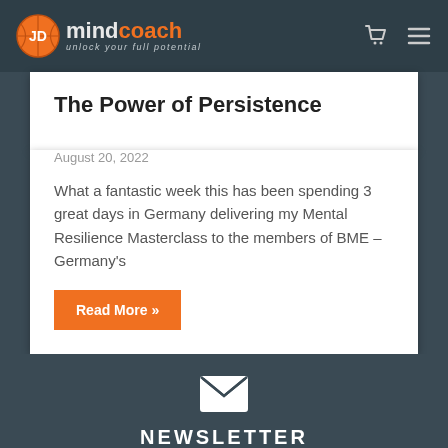JD mindcoach — unlock your full potential
The Power of Persistence
August 20, 2022
What a fantastic week this has been spending 3 great days in Germany delivering my Mental Resilience Masterclass to the members of BME – Germany's
Read More »
NEWSLETTER
Sign up and receive our free Emotional Resilience Top Tips Handbook.